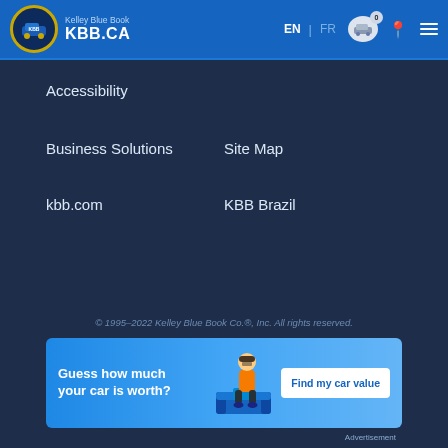Kelley Blue Book KBB.CA
Accessibility
Business Solutions
Site Map
kbb.com
KBB Brazil
© 1995–2022 Kelley Blue Book Co.®, Inc. All rights reserved.
[Figure (infographic): Advertisement banner: 'Guess how much your car is worth?' with a person sitting on a couch and a 'Find my car value' button]